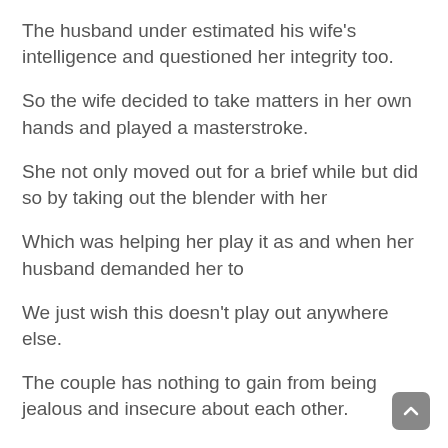The husband under estimated his wife's intelligence and questioned her integrity too.
So the wife decided to take matters in her own hands and played a masterstroke.
She not only moved out for a brief while but did so by taking out the blender with her
Which was helping her play it as and when her husband demanded her to
We just wish this doesn't play out anywhere else.
The couple has nothing to gain from being jealous and insecure about each other.